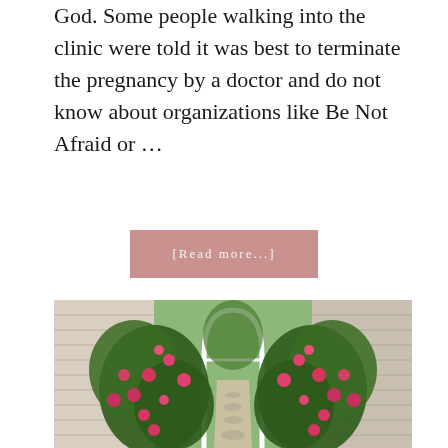God. Some people walking into the clinic were told it was best to terminate the pregnancy by a doctor and do not know about organizations like Be Not Afraid or …
[Read more...]
[Figure (photo): Outdoor garden path with a white arched trellis covered in climbing rose bushes with pink and red flowers, flanked by light-colored house siding on both sides, leading to a backyard.]